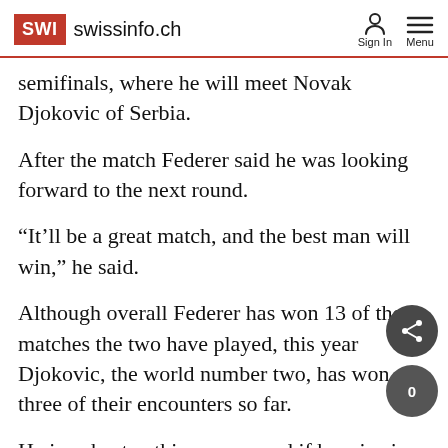SWI swissinfo.ch | Sign In | Menu
semifinals, where he will meet Novak Djokovic of Serbia.
After the match Federer said he was looking forward to the next round.
“It’ll be a great match, and the best man will win,” he said.
Although overall Federer has won 13 of the matches the two have played, this year Djokovic, the world number two, has won all three of their encounters so far.
He is unbeaten this season, and if he wins in Paris, he will displace Rafael Nadal of Spain